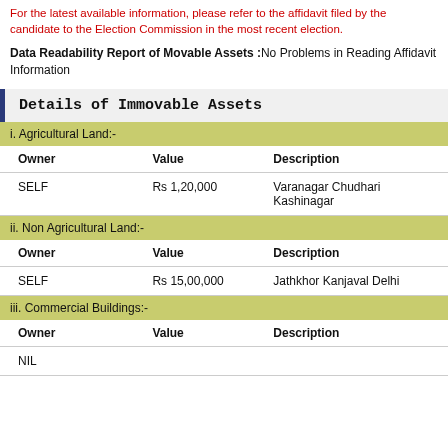For the latest available information, please refer to the affidavit filed by the candidate to the Election Commission in the most recent election.
Data Readability Report of Movable Assets :No Problems in Reading Affidavit Information
Details of Immovable Assets
| Owner | Value | Description |
| --- | --- | --- |
| SELF | Rs 1,20,000 | Varanagar Chudhari Kashinagar |
| Owner | Value | Description |
| --- | --- | --- |
| SELF | Rs 15,00,000 | Jathkhor Kanjaval Delhi |
| Owner | Value | Description |
| --- | --- | --- |
| NIL |  |  |